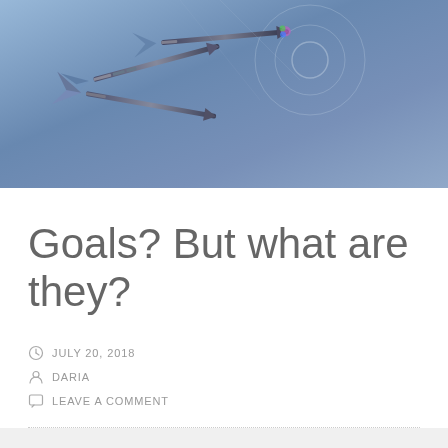[Figure (photo): Close-up photo of metallic darts stuck into a dartboard, bluish tones, dark background]
Goals? But what are they?
JULY 20, 2018
DARIA
LEAVE A COMMENT